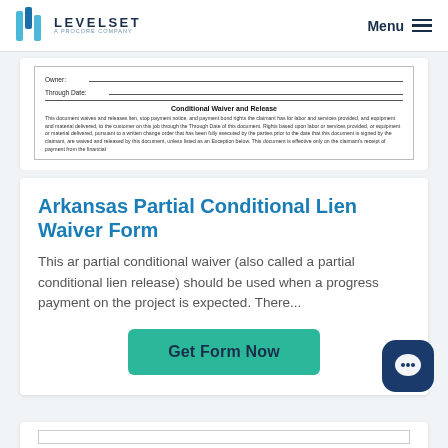LEVELSET A PROCORE COMPANY | Menu
[Figure (screenshot): Partial preview of a legal form showing fields for Owner and Through Date, a horizontal divider, and a section titled 'Conditional Waiver and Release' with body text describing lien waiver document terms.]
Arkansas Partial Conditional Lien Waiver Form
This ar partial conditional waiver (also called a partial conditional lien release) should be used when a progress payment on the project is expected. There...
Get Form Now